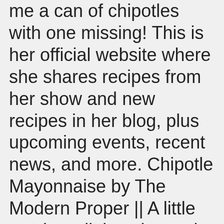me a can of chipotles with one missing! This is her official website where she shares recipes from her show and new recipes in her blog, plus upcoming events, recent news, and more. Chipotle Mayonnaise by The Modern Proper || A little smoky, a little spicy and a LOT easyâhomemade chipotle mayonnaise is as simple to make as it is dangerous to keep around. You can also quickly add some more heat by adding more adobo sauce. The lime juice and lime zest perfectly balances the smoky flavors of the chiptole and adds some brightness to the recipe. Combine well and take a taste for seasoning, adding more salt and lime if you want. We use this Chipotle Mayo to make some wicked Mexican Avocado Toast. Take a taste for seasoning, adding more salt and lime if you want. And note that this was a